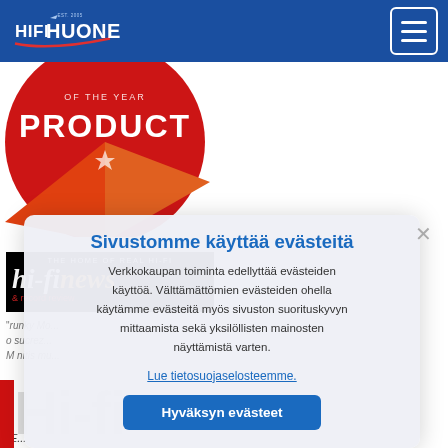[Figure (logo): HifiHuone logo on blue navigation bar]
[Figure (logo): Red PRODUCT award badge circle]
[Figure (logo): Hi-Fi News magazine logo - THE HOME OF REAL HI-FI]
Verkkokaupan toiminta edellyttää evästeiden käyttöä. Välttämättömien evästeiden ohella käytämme evästeitä myös sivuston suorituskyvyn mittaamista sekä yksilöllisten mainosten näyttämistä varten.
Sivustomme käyttää evästeitä
Verkkokaupan toiminta edellyttää evästeiden käyttöä. Välttämättömien evästeiden ohella käytämme evästeitä myös sivuston suorituskyvyn mittaamista sekä yksilöllisten mainosten näyttämistä varten.
Lue tietosuojaselosteemme.
Hyväksyn evästeet